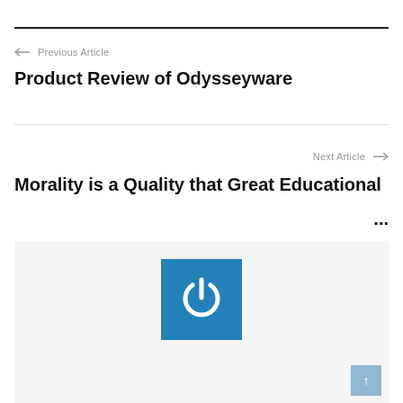← Previous Article
Product Review of Odysseyware
Next Article →
Morality is a Quality that Great Educational ...
[Figure (logo): Blue square with white power/on button icon in the center, on a light grey background. A light blue scroll-to-top button appears in the bottom right corner.]